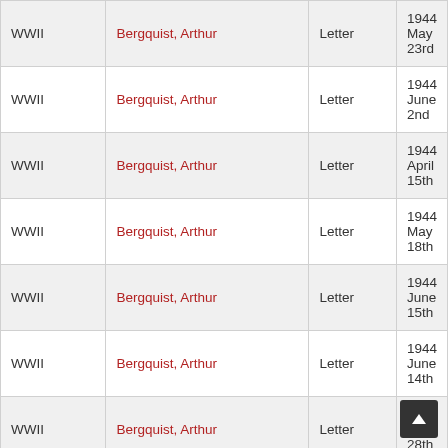| War | Name | Type | Date |
| --- | --- | --- | --- |
| WWII | Bergquist, Arthur | Letter | 1944 May 23rd |
| WWII | Bergquist, Arthur | Letter | 1944 June 2nd |
| WWII | Bergquist, Arthur | Letter | 1944 April 15th |
| WWII | Bergquist, Arthur | Letter | 1944 May 18th |
| WWII | Bergquist, Arthur | Letter | 1944 June 15th |
| WWII | Bergquist, Arthur | Letter | 1944 June 14th |
| WWII | Bergquist, Arthur | Letter | 1944 April 28th |
| WWII | Bergquist, Arthur | Letter | 1944 July 3rd |
| WWII | Bergquist, Arthur | Letter | 1944 June 19th |
| WWII | Bergquist, Arthur | Letter | 1944 July 2nd |
| WWII | Bergquist, Arthur | Letter | 1944 June 21st |
| WWII | Bergquist, Arthur | Letter | 1944 June 9th |
| WWII | Bergquist, Arthur | Letter | 1944 June 7th |